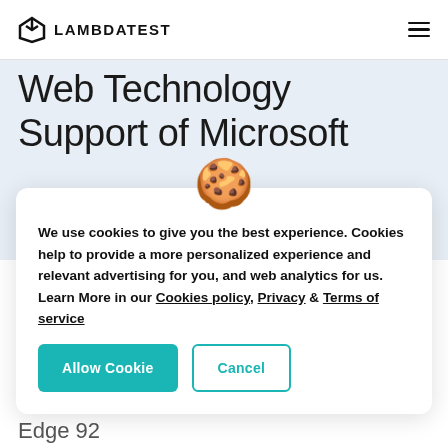LAMBDATEST
Web Technology Support of Microsoft
[Figure (illustration): Cookie emoji icon (brown cookie with chocolate chips)]
We use cookies to give you the best experience. Cookies help to provide a more personalized experience and relevant advertising for you, and web analytics for us. Learn More in our Cookies policy, Privacy & Terms of service
Allow Cookie | Cancel
Edge 92